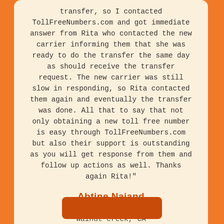transfer, so I contacted TollFreeNumbers.com and got immediate answer from Rita who contacted the new carrier informing them that she was ready to do the transfer the same day as should receive the transfer request. The new carrier was still slow in responding, so Rita contacted them again and eventually the transfer was done. All that to say that not only obtaining a new toll free number is easy through TollFreeNumbers.com but also their support is outstanding as you will get response from them and follow up actions as well. Thanks again Rita!"
Abtine Najand
Itinera Technologies
Walnut creek, CA